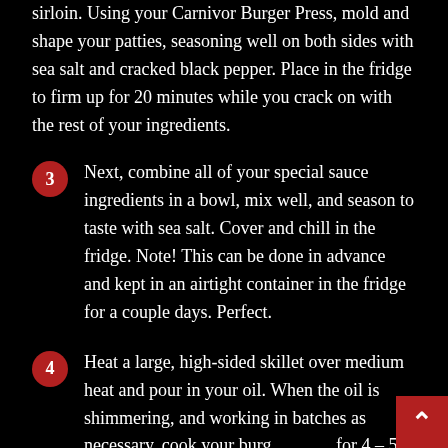sirloin. Using your Carnivor Burger Press, mold and shape your patties, seasoning well on both sides with sea salt and cracked black pepper. Place in the fridge to firm up for 20 minutes while you crack on with the rest of your ingredients.
3 Next, combine all of your special sauce ingredients in a bowl, mix well, and season to taste with sea salt. Cover and chill in the fridge. Note! This can be done in advance and kept in an airtight container in the fridge for a couple days. Perfect.
4 Heat a large, high-sided skillet over medium heat and pour in your oil. When the oil is shimmering, and working in batches as necessary, cook your burg for 4 – 5 minutes per side until cooked through to